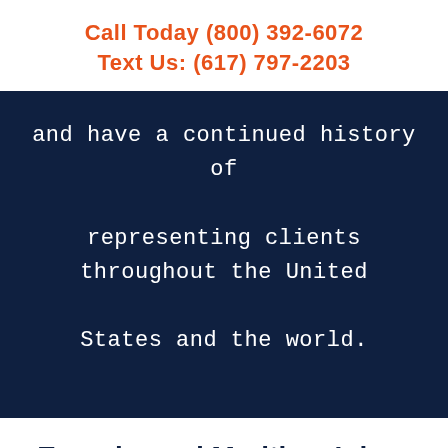Call Today (800) 392-6072
Text Us: (617) 797-2203
and have a continued history of representing clients throughout the United States and the world.
Experienced Maritime Injury Lawyers
$100,000,000+ Won for Our Clients
Available 24/7/365 Nationwide